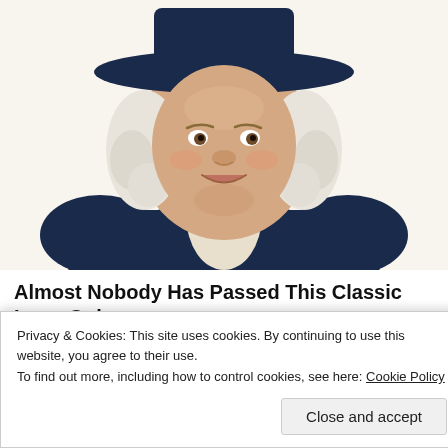[Figure (illustration): Illustration of the Quaker Oats mascot — a smiling man with white curly hair wearing a dark navy coat and a wide-brimmed navy hat, with a white cravat at his neck, cropped at the torso.]
Almost Nobody Has Passed This Classic Logo Quiz
WarpedSpeed
[Figure (photo): Partial photo strip showing green foliage and some plants/garden scene, partially obscured by cookie consent banner.]
Privacy & Cookies: This site uses cookies. By continuing to use this website, you agree to their use.
To find out more, including how to control cookies, see here: Cookie Policy
Close and accept